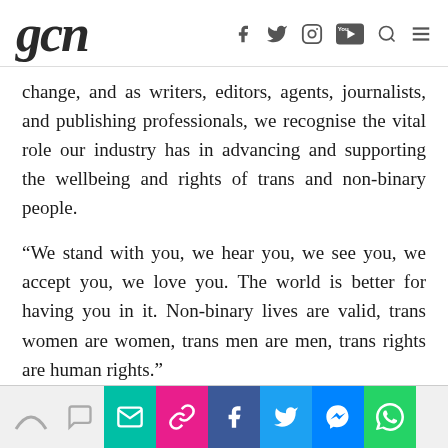gcn [website header with social icons: Facebook, Twitter, Instagram, YouTube, Search, Menu]
change, and as writers, editors, agents, journalists, and publishing professionals, we recognise the vital role our industry has in advancing and supporting the wellbeing and rights of trans and non-binary people.
“We stand with you, we hear you, we see you, we accept you, we love you. The world is better for having you in it. Non-binary lives are valid, trans women are women, trans men are men, trans rights are human rights.”
[Share bar: rainbow icon, comment icon, email, link, Facebook, Twitter, Messenger, WhatsApp]